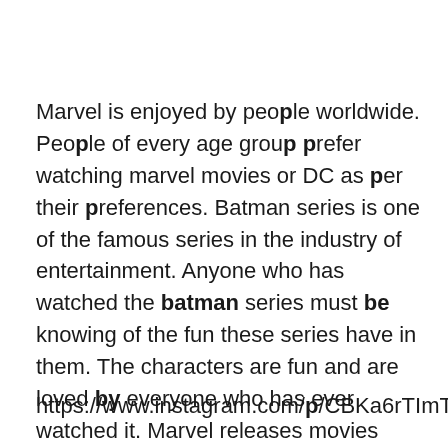Marvel is enjoyed by people worldwide. People of every age group prefer watching marvel movies or DC as per their preferences. Batman series is one of the famous series in the industry of entertainment. Anyone who has watched the batman series must be knowing of the fun these series have in them. The characters are fun and are loved by everyone who has ever watched it. Marvel releases movies every year with new themes and they come on the box office, breaking all the previous records that were made by any series before that.
https://www.instagram.com/p/CBKa6rTImTK/?